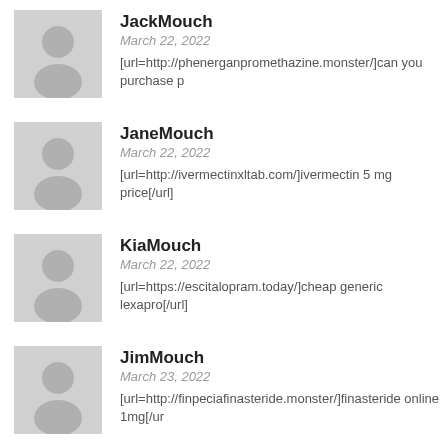JackMouch
March 22, 2022
[url=http://phenerganpromethazine.monster/]can you purchase p
JaneMouch
March 22, 2022
[url=http://ivermectinxltab.com/]ivermectin 5 mg price[/url]
KiaMouch
March 22, 2022
[url=https://escitalopram.today/]cheap generic lexapro[/url]
JimMouch
March 23, 2022
[url=http://finpeciafinasteride.monster/]finasteride online 1mg[/ur
AshMouch
March 23, 2022